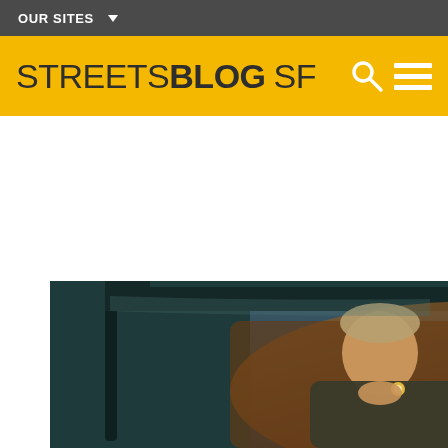OUR SITES
STREETSBLOG SF
[Figure (photo): A young man sitting inside a vehicle (truck or SUV), leaning forward and lighting something, photographed from outside through the open door. Dark, moody ambient lighting inside the vehicle.]